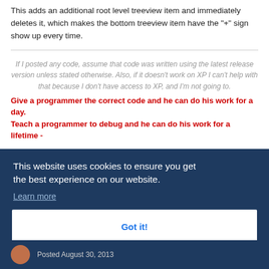This adds an additional root level treeview item and immediately deletes it, which makes the bottom treeview item have the "+" sign show up every time.
If I posted any code, assume that code was written using the latest release version unless stated otherwise. Also, if it doesn't work on XP I can't help with that because I don't have access to XP, and I'm not going to.
Give a programmer the correct code and he can do his work for a day. Teach a programmer to debug and he can do his work for a lifetime -
This website uses cookies to ensure you get the best experience on our website.
Learn more
Got it!
Posted August 30, 2013